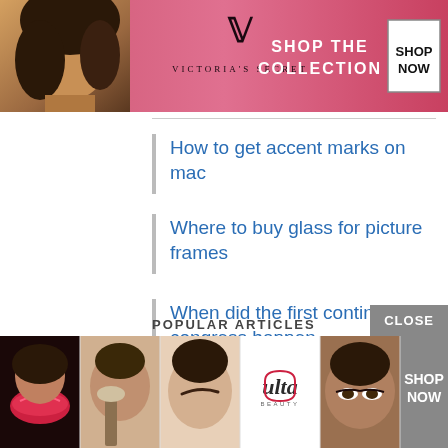[Figure (infographic): Victoria's Secret advertisement banner with model, VS logo, 'SHOP THE COLLECTION' text and 'SHOP NOW' button on pink background]
How to get accent marks on mac
Where to buy glass for picture frames
When did the first continental congress happen
How to turn off margin trading td ameritrade
What is ritas island fusion flavor
POPULAR ARTICLES
[Figure (infographic): Ulta Beauty advertisement banner with makeup/beauty images and 'SHOP NOW' button, with CLOSE button overlay]